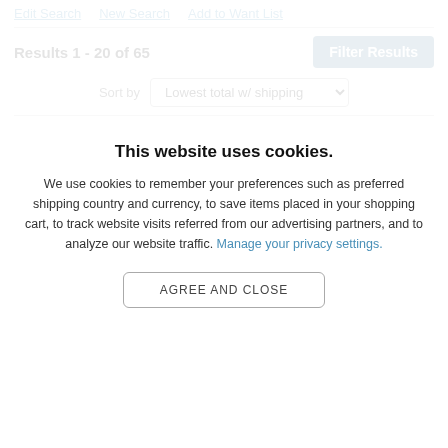Edit Search  New Search  Add to Want List
Results 1 - 20 of 65
Sort by  Lowest total w/ shipping
[Figure (illustration): Book cover for 'War in the Pacific' with dark red bold title text on a gray swirling background]
War in the Pacific
BY JEROME T. HAGEN
USED  GOOD  PAPERBACK
This website uses cookies.
We use cookies to remember your preferences such as preferred shipping country and currency, to save items placed in your shopping cart, to track website visits referred from our advertising partners, and to analyze our website traffic. Manage your privacy settings.
AGREE AND CLOSE